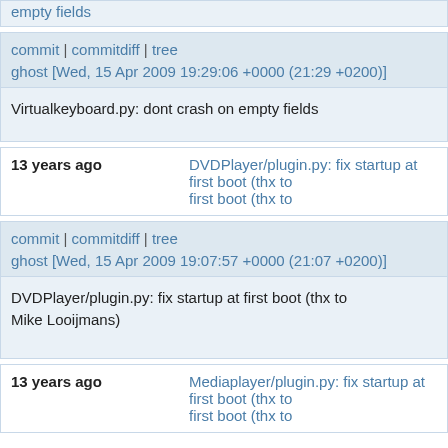empty fields
commit | commitdiff | tree
ghost [Wed, 15 Apr 2009 19:29:06 +0000 (21:29 +0200)]
Virtualkeyboard.py: dont crash on empty fields
13 years ago   DVDPlayer/plugin.py: fix startup at first boot (thx to
commit | commitdiff | tree
ghost [Wed, 15 Apr 2009 19:07:57 +0000 (21:07 +0200)]
DVDPlayer/plugin.py: fix startup at first boot (thx to Mike Looijmans)
13 years ago   Mediaplayer/plugin.py: fix startup at first boot (thx to